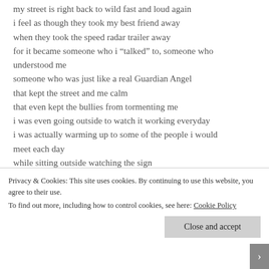my street is right back to wild fast and loud again
i feel as though they took my best friend away
when they took the speed radar trailer away
for it became someone who i “talked” to, someone who understood me
someone who was just like a real Guardian Angel
that kept the street and me calm
that even kept the bullies from tormenting me
i was even going outside to watch it working everyday
i was actually warming up to some of the people i would meet each day
while sitting outside watching the sign
Privacy & Cookies: This site uses cookies. By continuing to use this website, you agree to their use.
To find out more, including how to control cookies, see here: Cookie Policy